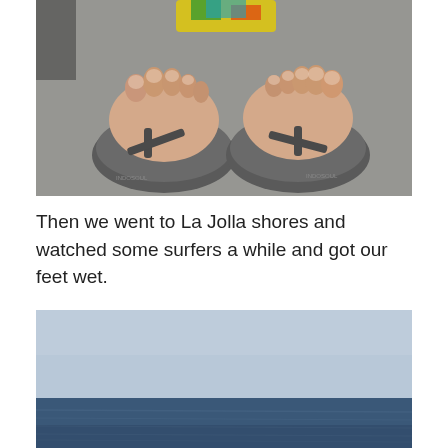[Figure (photo): Top-down view of two feet wearing gray flip-flops on pavement, with colorful sneakers visible at the top of the frame.]
Then we went to La Jolla shores and watched some surfers a while and got our feet wet.
[Figure (photo): Partial view of the ocean with blue-gray sky above and calm dark blue water below, likely La Jolla shores.]